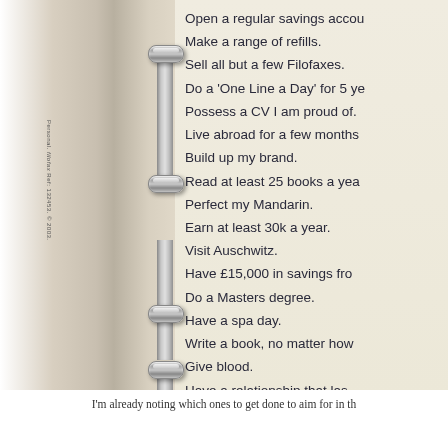[Figure (photo): Photo of a Filofax personal planner open showing a list of life goals/bucket list items on cream-colored paper with a metal ring binder mechanism visible on the left. Text reads: Open a regular savings accou... / Make a range of refills. / Sell all but a few Filofaxes. / Do a 'One Line a Day' for 5 ye... / Possess a CV I am proud of. / Live abroad for a few months... / Build up my brand. / Read at least 25 books a yea... / Perfect my Mandarin. / Earn at least 30k a year. / Visit Auschwitz. / Have £15,000 in savings fro... / Do a Masters degree. / Have a spa day. / Write a book, no matter how... / Give blood. / Have a relationship that las... / Have my own set of busines... / Do a 365 photo a day challe... / Do some sort of freelance w... / Don't shop for a whole year...]
I'm already noting which ones to get done to aim for in the...